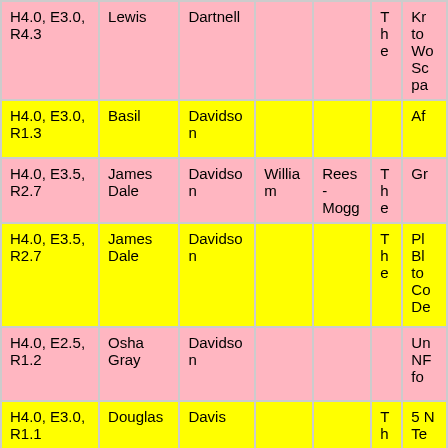| Col1 | First | Last | Middle | Extra | Art | Title |
| --- | --- | --- | --- | --- | --- | --- |
| H4.0, E3.0, R4.3 | Lewis | Dartnell |  |  | The | Kr to Wo Sc pa |
| H4.0, E3.0, R1.3 | Basil | Davidson |  |  |  | Af |
| H4.0, E3.5, R2.7 | James Dale | Davidson | William | Rees-Mogg | The | Gr |
| H4.0, E3.5, R2.7 | James Dale | Davidson |  |  | The | Pl Bl to Co De |
| H4.0, E2.5, R1.2 | Osha Gray | Davidson |  |  |  | Un NF fo |
| H4.0, E3.0, R1.1 | Douglas | Davis |  |  | The | 5 N Te |
| H4.0, E3.0, R2.7 | Geff | Davis |  |  |  | "M an _N An |